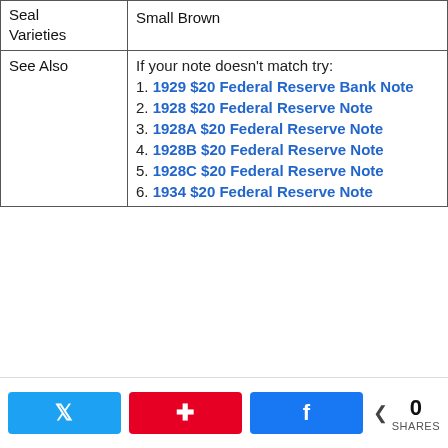| Seal Varieties | Small Brown |
| --- | --- |
| See Also | If your note doesn't match try:
1. 1929 $20 Federal Reserve Bank Note
2. 1928 $20 Federal Reserve Note
3. 1928A $20 Federal Reserve Note
4. 1928B $20 Federal Reserve Note
5. 1928C $20 Federal Reserve Note
6. 1934 $20 Federal Reserve Note |
0 SHARES